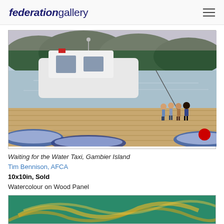federationgallery
[Figure (photo): Watercolour painting titled 'Waiting for the Water Taxi, Gambier Island' showing boats docked at a marina with children standing on a wooden dock and water in the background. A red sold dot is visible in the lower right corner.]
Waiting for the Water Taxi, Gambier Island
Tim Bennison, AFCA
10x10in, Sold
Watercolour on Wood Panel
[Figure (photo): Partial view of another artwork showing teal/green background with yellow curved lines, partially visible at bottom of page.]